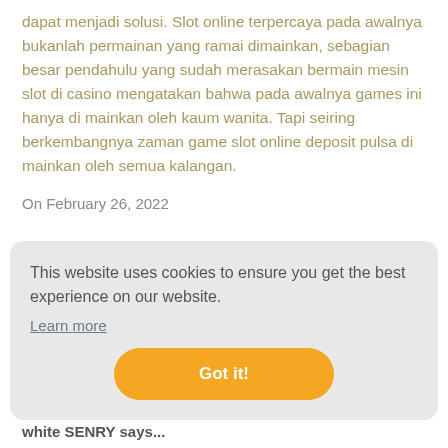dapat menjadi solusi. Slot online terpercaya pada awalnya bukanlah permainan yang ramai dimainkan, sebagian besar pendahulu yang sudah merasakan bermain mesin slot di casino mengatakan bahwa pada awalnya games ini hanya di mainkan oleh kaum wanita. Tapi seiring berkembangnya zaman game slot online deposit pulsa di mainkan oleh semua kalangan.
On February 26, 2022
fewsdf says...
http://...
This website uses cookies to ensure you get the best experience on our website. Learn more
Got it!
white SENRY says...